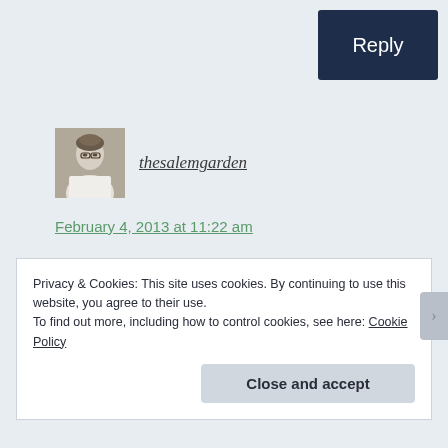Reply
[Figure (photo): Avatar photo of thesalemgarden user, a person wearing glasses]
thesalemgarden
February 4, 2013 at 11:22 am
you'd have to be really quick to catch the splat sweetie!
Privacy & Cookies: This site uses cookies. By continuing to use this website, you agree to their use.
To find out more, including how to control cookies, see here: Cookie Policy
Close and accept